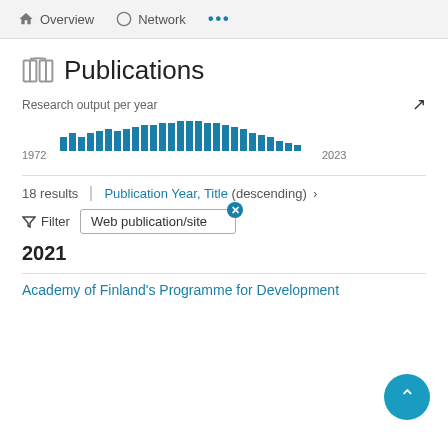Overview  Network  ...
Publications
Research output per year
[Figure (bar-chart): Research output per year]
18 results  |  Publication Year, Title (descending) ›
Filter   Web publication/site
2021
Academy of Finland's Programme for Development